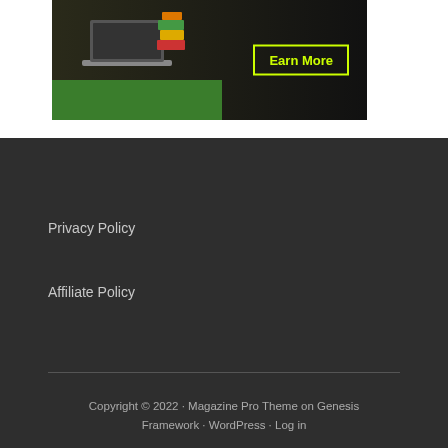[Figure (illustration): Banner advertisement showing a laptop with stacked books/boxes illustration on a dark background, with a highlighted 'Earn More' button with yellow-green border]
Privacy Policy
Affiliate Policy
Copyright © 2022 · Magazine Pro Theme on Genesis Framework · WordPress · Log in